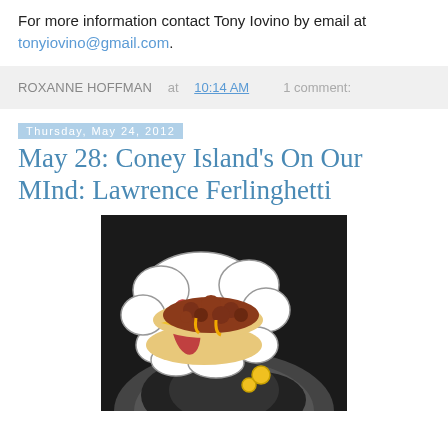For more information contact Tony Iovino by email at tonyiovino@gmail.com.
ROXANNE HOFFMAN at 10:14 AM    1 comment:
Thursday, May 24, 2012
May 28: Coney Island's On Our MInd: Lawrence Ferlinghetti
[Figure (photo): A thought bubble containing a chili cheese hot dog/Coney Island hot dog, shown above a black-and-white photo of the back of a person's head with dark hair.]